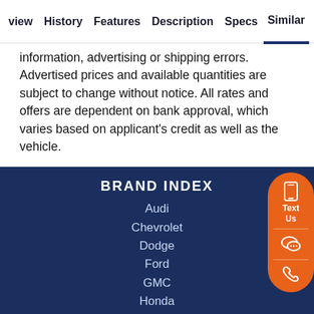view  History  Features  Description  Specs  Similar
information, advertising or shipping errors. Advertised prices and available quantities are subject to change without notice. All rates and offers are dependent on bank approval, which varies based on applicant's credit as well as the vehicle.
BRAND INDEX
Audi
Chevrolet
Dodge
Ford
GMC
Honda
Hyundai
Jeep
Kia